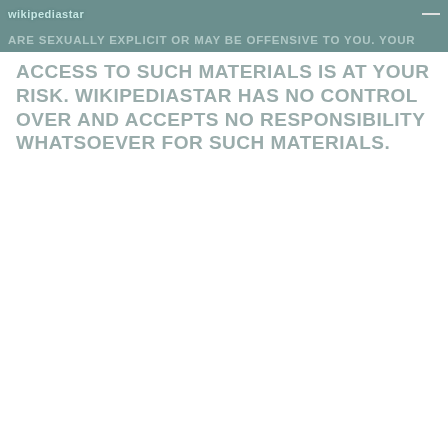wikipediastar
ARE SEXUALLY EXPLICIT OR MAY BE OFFENSIVE TO YOU. YOUR
ACCESS TO SUCH MATERIALS IS AT YOUR RISK. wikipediastar HAS NO CONTROL OVER AND ACCEPTS NO RESPONSIBILITY WHATSOEVER FOR SUCH MATERIALS.